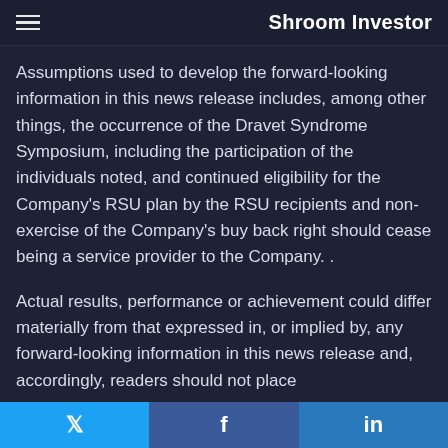Shroom Investor
Assumptions used to develop the forward-looking information in this news release includes, among other things, the occurrence of the Dravet Syndrome Symposium, including the participation of the individuals noted, and continued eligibility for the Company's RSU plan by the RSU recipients and non-exercise of the Company's buy back right should cease being a service provider to the Company. .
Actual results, performance or achievement could differ materially from that expressed in, or implied by, any forward-looking information in this news release and, accordingly, readers should not place